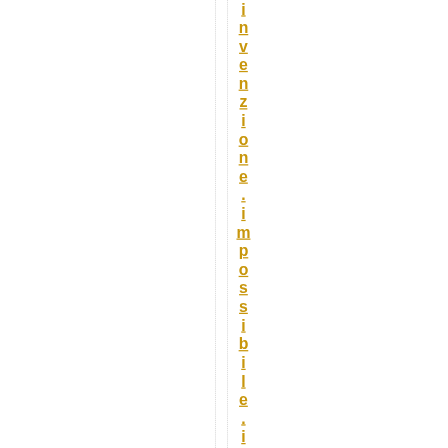invenzione. impossibile. is. finali